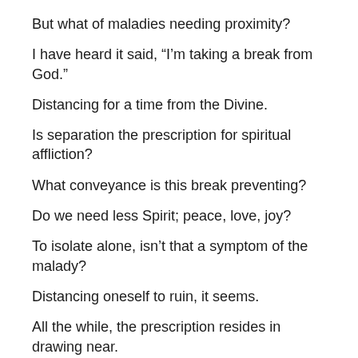But what of maladies needing proximity?
I have heard it said, “I’m taking a break from God.”
Distancing for a time from the Divine.
Is separation the prescription for spiritual affliction?
What conveyance is this break preventing?
Do we need less Spirit; peace, love, joy?
To isolate alone, isn’t that a symptom of the malady?
Distancing oneself to ruin, it seems.
All the while, the prescription resides in drawing near.
We should pull close when unfelt feelings arise.
When God seems not to be…